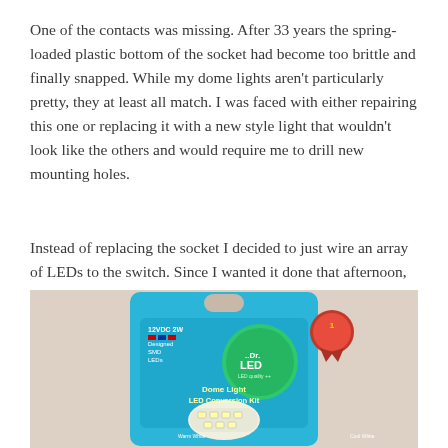One of the contacts was missing. After 33 years the spring-loaded plastic bottom of the socket had become too brittle and finally snapped. While my dome lights aren't particularly pretty, they at least all match. I was faced with either repairing this one or replacing it with a new style light that wouldn't look like the others and would require me to drill new mounting holes.
Instead of replacing the socket I decided to just wire an array of LEDs to the switch. Since I wanted it done that afternoon, my only option was West Marine.
[Figure (photo): Photo of a Dr. LED Dome Light LED Conversion Kit product package, 12VDC 2W, showing the blue blister packaging with the LED module visible and a red award ribbon badge.]